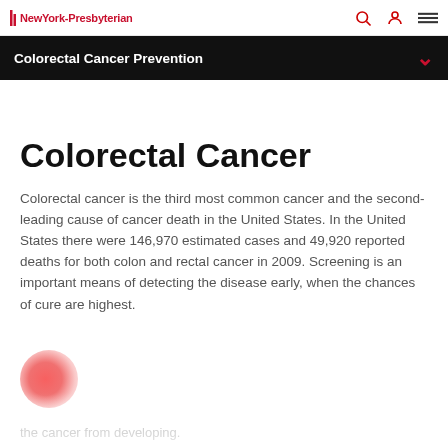NewYork-Presbyterian
Colorectal Cancer Prevention
Colorectal Cancer
Colorectal cancer is the third most common cancer and the second-leading cause of cancer death in the United States. In the United States there were 146,970 estimated cases and 49,920 reported deaths for both colon and rectal cancer in 2009. Screening is an important means of detecting the disease early, when the chances of cure are highest.
the cancer from developing.